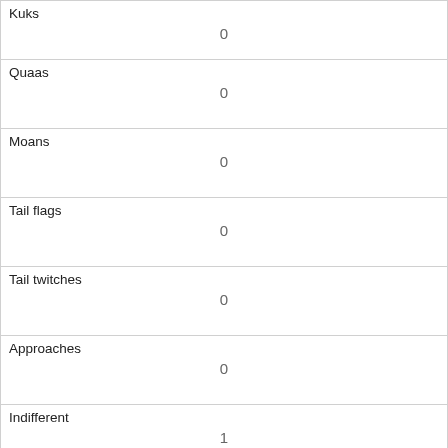| Kuks | 0 |
| Quaas | 0 |
| Moans | 0 |
| Tail flags | 0 |
| Tail twitches | 0 |
| Approaches | 0 |
| Indifferent | 1 |
| Runs from | 0 |
| Other Interactions |  |
| Lat/Long | POINT (-73.9787015184662 40.7690114585688) |